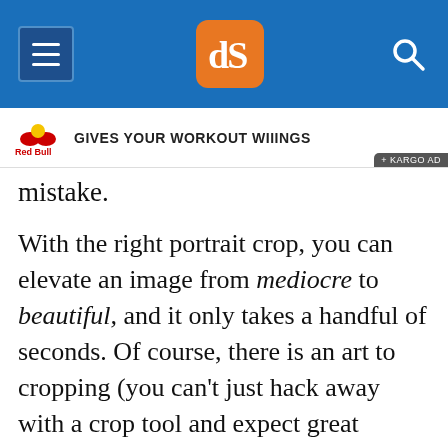dPS navigation bar with menu, logo, and search
[Figure (screenshot): Red Bull advertisement banner: Red Bull logo on left, text 'GIVES YOUR WORKOUT WIIINGS' in bold, Kargo Ad badge on bottom right]
mistake.
With the right portrait crop, you can elevate an image from mediocre to beautiful, and it only takes a handful of seconds. Of course, there is an art to cropping (you can't just hack away with a crop tool and expect great results!), but that's where this article comes in handy.
As an experienced portrait shooter, I've spent years developing my style, working with subjects, studying the masters, and discovering the types of crops that work – and the type of crops that